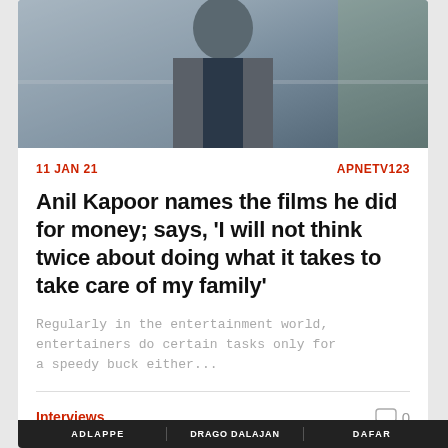[Figure (photo): Photo of a man wearing a grey blazer over a dark shirt, outdoors background with railing and greenery]
11 JAN 21    APNETV123
Anil Kapoor names the films he did for money; says, ‘I will not think twice about doing what it takes to take care of my family’
Regularly in the entertainment world, entertainers do certain tasks only for a speedy buck either...
Interviews    0